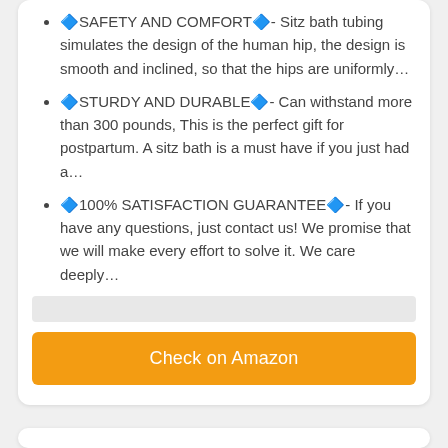🔷SAFETY AND COMFORT🔷- Sitz bath tubing simulates the design of the human hip, the design is smooth and inclined, so that the hips are uniformly…
🔷STURDY AND DURABLE🔷- Can withstand more than 300 pounds, This is the perfect gift for postpartum. A sitz bath is a must have if you just had a…
🔷100% SATISFACTION GUARANTEE🔷- If you have any questions, just contact us! We promise that we will make every effort to solve it. We care deeply…
Check on Amazon